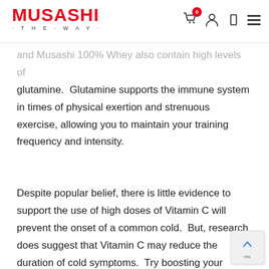MUSASHI · THE · WAY ·
and Musashi 100% Whey also contain high levels of glutamine.  Glutamine supports the immune system in times of physical exertion and strenuous exercise, allowing you to maintain your training frequency and intensity.
Despite popular belief, there is little evidence to support the use of high doses of Vitamin C will prevent the onset of a common cold.  But, research does suggest that Vitamin C may reduce the duration of cold symptoms.  Try boosting your intake of foods high in Vitamin C fresh fruit and vegetables, at the first sign of a cold